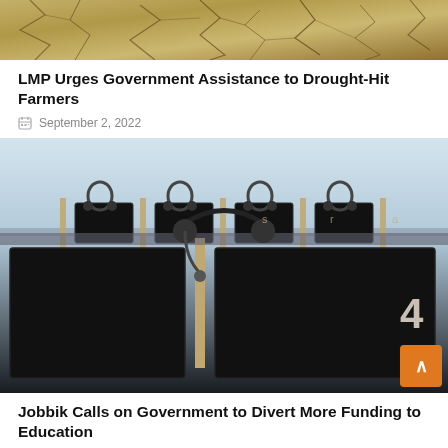[Figure (photo): Cracked dry earth/drought soil texture image at top of page]
LMP Urges Government Assistance to Drought-Hit Farmers
September 2, 2022
[Figure (photo): Call center / computer workstations with headsets and monitors, separated by partitions]
Jobbik Calls on Government to Divert More Funding to Education